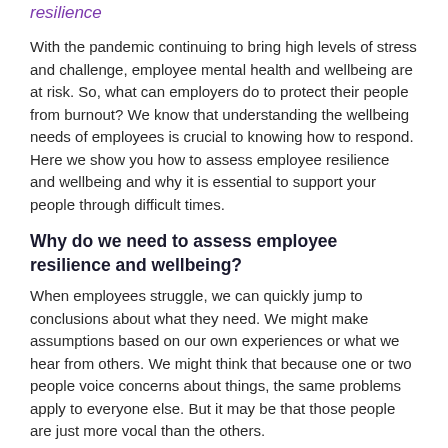resilience
With the pandemic continuing to bring high levels of stress and challenge, employee mental health and wellbeing are at risk. So, what can employers do to protect their people from burnout? We know that understanding the wellbeing needs of employees is crucial to knowing how to respond. Here we show you how to assess employee resilience and wellbeing and why it is essential to support your people through difficult times.
Why do we need to assess employee resilience and wellbeing?
When employees struggle, we can quickly jump to conclusions about what they need. We might make assumptions based on our own experiences or what we hear from others. We might think that because one or two people voice concerns about things, the same problems apply to everyone else. But it may be that those people are just more vocal than the others.